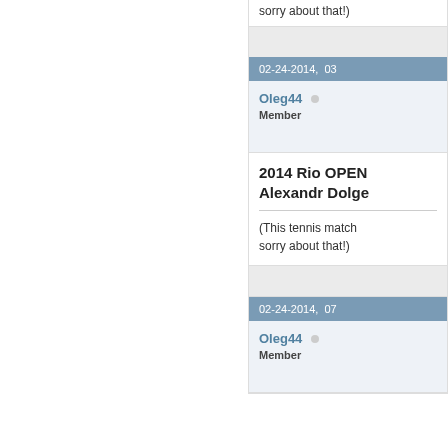sorry about that!)
02-24-2014,  03
Oleg44
Member
2014 Rio OPEN Alexandr Dolge
(This tennis match sorry about that!)
02-24-2014,  07
Oleg44
Member